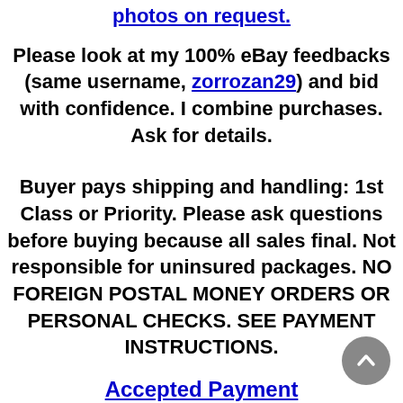photos on request.
Please look at my 100% eBay feedbacks (same username, zorrozan29) and bid with confidence. I combine purchases. Ask for details.
Buyer pays shipping and handling: 1st Class or Priority. Please ask questions before buying because all sales final. Not responsible for uninsured packages. NO FOREIGN POSTAL MONEY ORDERS OR PERSONAL CHECKS. SEE PAYMENT INSTRUCTIONS.
Accepted Payment
Money order or Cashiers check PayPal Personal check